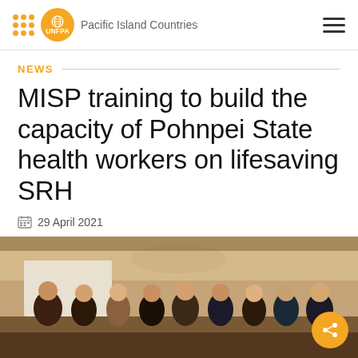UNFPA Pacific Island Countries
NEWS
MISP training to build the capacity of Pohnpei State health workers on lifesaving SRH
29 April 2021
[Figure (photo): Group photo of health workers in a meeting room, approximately 10 people standing together]